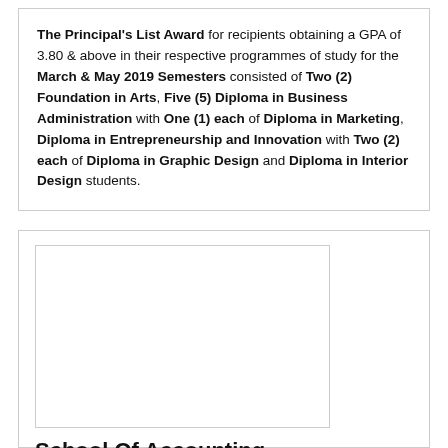The Principal's List Award for recipients obtaining a GPA of 3.80 & above in their respective programmes of study for the March & May 2019 Semesters consisted of Two (2) Foundation in Arts, Five (5) Diploma in Business Administration with One (1) each of Diploma in Marketing, Diploma in Entrepreneurship and Innovation with Two (2) each of Diploma in Graphic Design and Diploma in Interior Design students.
[Figure (photo): A blank/empty image placeholder box]
School Of Accounting